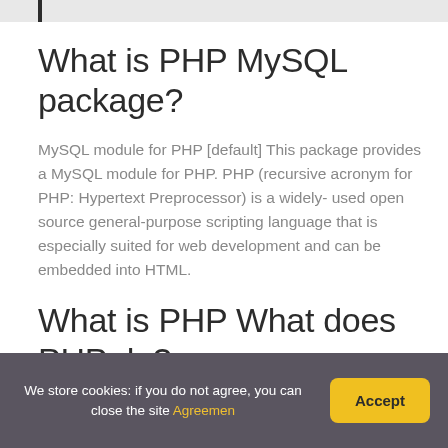What is PHP MySQL package?
MySQL module for PHP [default] This package provides a MySQL module for PHP. PHP (recursive acronym for PHP: Hypertext Preprocessor) is a widely- used open source general-purpose scripting language that is especially suited for web development and can be embedded into HTML.
What is PHP What does PHP do?
We store cookies: if you do not agree, you can close the site Agreemen   Accept